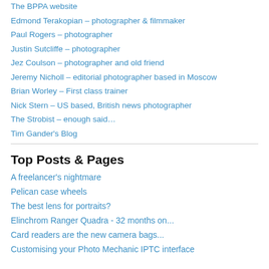The BPPA website
Edmond Terakopian – photographer & filmmaker
Paul Rogers – photographer
Justin Sutcliffe – photographer
Jez Coulson – photographer and old friend
Jeremy Nicholl – editorial photographer based in Moscow
Brian Worley – First class trainer
Nick Stern – US based, British news photographer
The Strobist – enough said…
Tim Gander's Blog
Top Posts & Pages
A freelancer's nightmare
Pelican case wheels
The best lens for portraits?
Elinchrom Ranger Quadra - 32 months on...
Card readers are the new camera bags...
Customising your Photo Mechanic IPTC interface